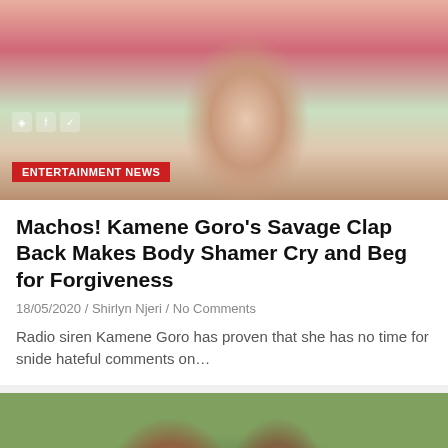[Figure (photo): Woman in white top posing at radio studio with microphone, pink background, social media icons visible]
ENTERTAINMENT NEWS
Machos! Kamene Goro's Savage Clap Back Makes Body Shamer Cry and Beg for Forgiveness
18/05/2020 / Shirlyn Njeri / No Comments
Radio siren Kamene Goro has proven that she has no time for snide hateful comments on…
[Figure (photo): Couple posing outdoors, man with dreadlocks and woman, green foliage background]